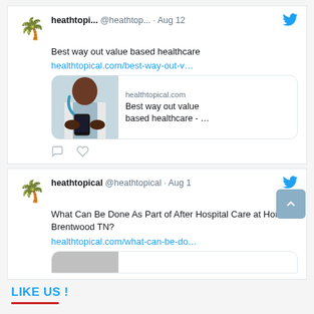[Figure (screenshot): Tweet from heathtopi... @heathtop... Aug 12 — Best way out value based healthcare with link healthtopical.com/best-way-out-v... and a preview card showing doctor with phone]
[Figure (screenshot): Tweet from heathtopical @heathtopical Aug 1 — What Can Be Done As Part of After Hospital Care at Home Brentwood TN? with link healthtopical.com/what-can-be-do...]
LIKE US !